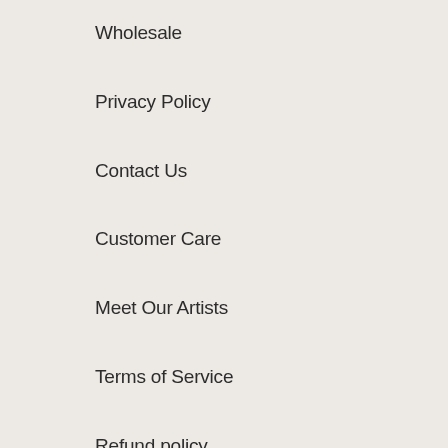Wholesale
Privacy Policy
Contact Us
Customer Care
Meet Our Artists
Terms of Service
Refund policy
Useful Articles